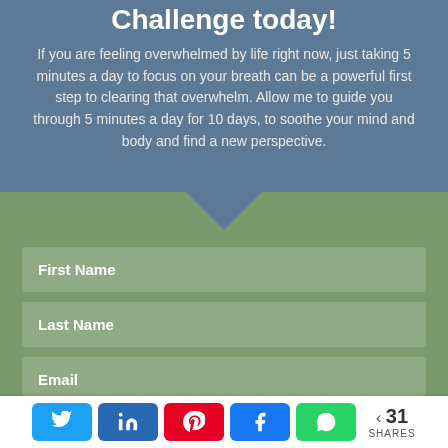Challenge today!
If you are feeling overwhelmed by life right now, just taking 5 minutes a day to focus on your breath can be a powerful first step to clearing that overwhelm. Allow me to guide you through 5 minutes a day for 10 days, to soothe your mind and body and find a new perspective.
[Figure (infographic): Web form sign-up section with green background containing three input fields labeled First Name, Last Name, Email, and a partially visible submit button reading Give yourself Space to Breathe now]
< 31 SHARES [Twitter] [LinkedIn] [Pinterest] [Facebook] [WhatsApp]